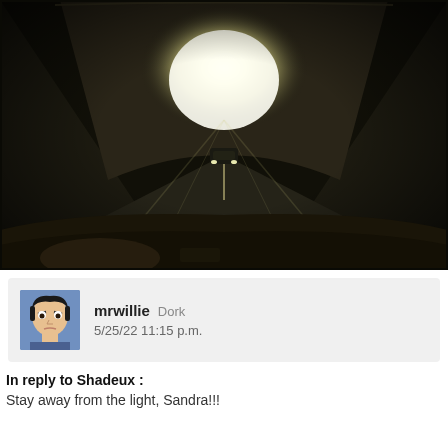[Figure (photo): A dark, dramatic photo taken from inside a car looking forward through a tunnel. Bright light glows at the tunnel exit. A car is visible ahead on the road. The bottom of the frame shows the car's dashboard/hood. Sepia/dark tones with vignetting.]
mrwillie  Dork
5/25/22  11:15 p.m.
In reply to Shadeux :
Stay away from the light, Sandra!!!